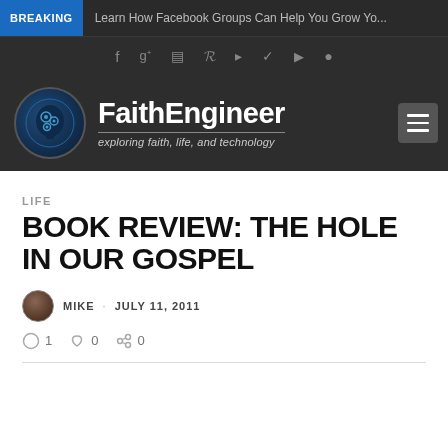BREAKING  Learn How Facebook Groups Can Help You Grow Yo...
[Figure (logo): FaithEngineer website logo with brain icon and tagline 'exploring faith, life, and technology']
LIFE
BOOK REVIEW: THE HOLE IN OUR GOSPEL
MIKE · JULY 11, 2011
1  0  0